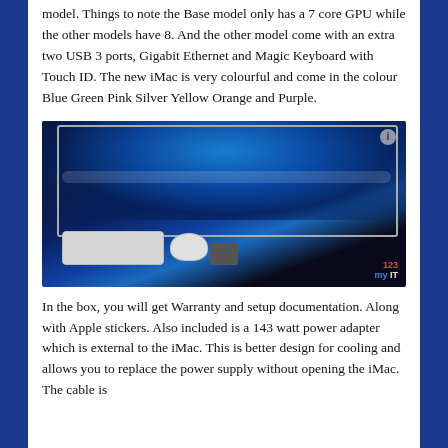model. Things to note the Base model only has a 7 core GPU while the other models have 8. And the other model come with an extra two USB 3 ports, Gigabit Ethernet and Magic Keyboard with Touch ID. The new iMac is very colourful and come in the colour Blue Green Pink Silver Yellow Orange and Purple.
[Figure (photo): Photo of a silver iMac on a dark desk with blue LED backlighting, white Magic Keyboard and white Magic Mouse in foreground. A 123myIT watermark appears in the bottom right corner.]
In the box, you will get Warranty and setup documentation. Along with Apple stickers. Also included is a 143 watt power adapter which is external to the iMac. This is better design for cooling and allows you to replace the power supply without opening the iMac. The cable is